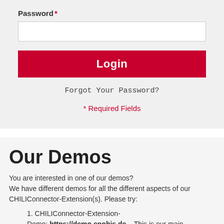Password *
[Figure (screenshot): Password input field (empty text box)]
Login
Forgot Your Password?
* Required Fields
Our Demos
You are interested in one of our demos?
We have different demos for all the different aspects of our CHILIConnector-Extension(s). Please try:
1. CHILIConnector-Extension-Demo: https://demo.enobis.de – This is our main technical demo, which shows all the technical aspects of